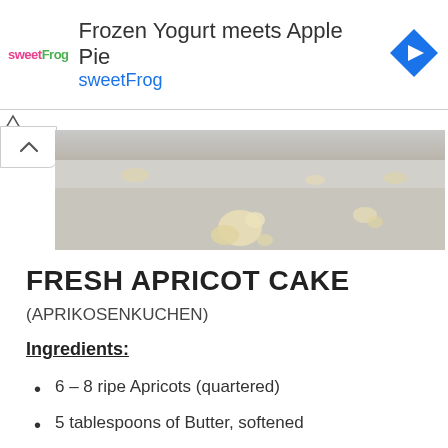[Figure (other): Advertisement banner for sweetFrog featuring text 'Frozen Yogurt meets Apple Pie' and 'sweetFrog' with logo and direction icon]
[Figure (photo): Photo showing a light gray/beige surface with small crumbled pieces scattered, likely a baked cake or pastry crumbs]
FRESH APRICOT CAKE
(APRIKOSENKUCHEN)
Ingredients:
6 – 8 ripe Apricots (quartered)
5 tablespoons of Butter, softened
1/3 of Sugar
1/2 teaspoon of Vanilla Extract
1 Egg and 1 Yolk (partially visible)